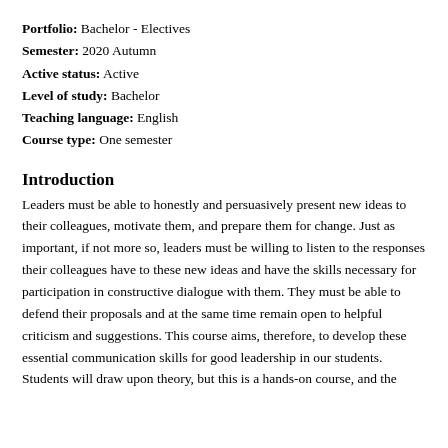Portfolio: Bachelor - Electives
Semester: 2020 Autumn
Active status: Active
Level of study: Bachelor
Teaching language: English
Course type: One semester
Introduction
Leaders must be able to honestly and persuasively present new ideas to their colleagues, motivate them, and prepare them for change. Just as important, if not more so, leaders must be willing to listen to the responses their colleagues have to these new ideas and have the skills necessary for participation in constructive dialogue with them. They must be able to defend their proposals and at the same time remain open to helpful criticism and suggestions. This course aims, therefore, to develop these essential communication skills for good leadership in our students. Students will draw upon theory, but this is a hands-on course, and the